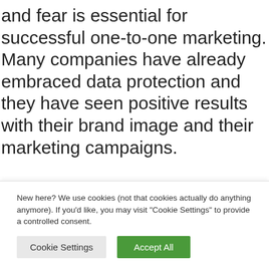and fear is essential for successful one-to-one marketing. Many companies have already embraced data protection and they have seen positive results with their brand image and their marketing campaigns.
Companies like Apple, Adobe, and Dropbox have made significant strides to protect their
New here? We use cookies (not that cookies actually do anything anymore). If you'd like, you may visit "Cookie Settings" to provide a controlled consent.